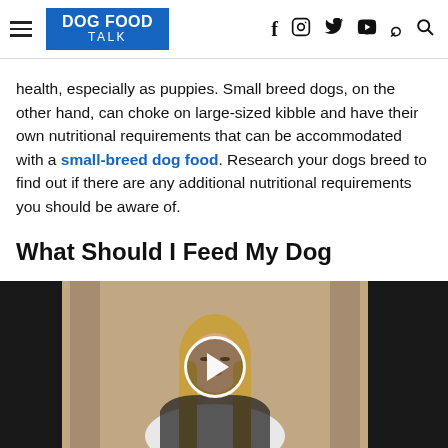DOG FOOD TALK
health, especially as puppies. Small breed dogs, on the other hand, can choke on large-sized kibble and have their own nutritional requirements that can be accommodated with a small-breed dog food. Research your dogs breed to find out if there are any additional nutritional requirements you should be aware of.
What Should I Feed My Dog
[Figure (photo): Video thumbnail showing a woman with long blonde hair wearing a white shirt, with a play button overlay. Dark panels on left and right sides of the video frame.]